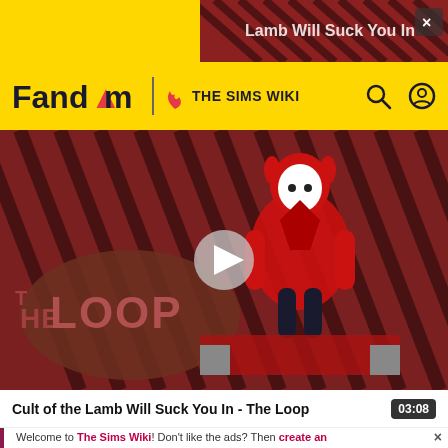[Figure (screenshot): Yellow Fandom ad banner at top of page]
Fandom | THE SIMS WIKI
[Figure (screenshot): Cult of the Lamb Will Suck You In - The Loop video thumbnail with diagonal red/black stripe background and cartoon character, play button overlay, THE LOOP logo]
Cult of the Lamb Will Suck You In - The Loop
03:08
Welcome to The Sims Wiki! Don't like the ads? Then create an account! Users with accounts will only see ads on the Main Page and have more options than anonymous users.